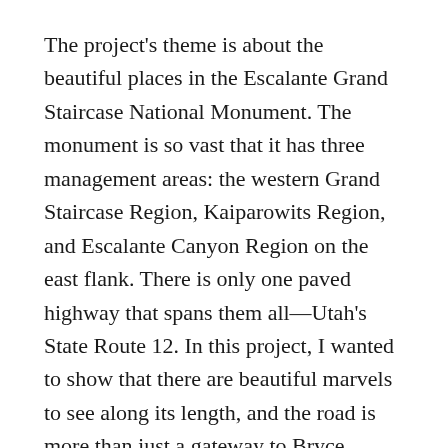The project's theme is about the beautiful places in the Escalante Grand Staircase National Monument. The monument is so vast that it has three management areas: the western Grand Staircase Region, Kaiparowits Region, and Escalante Canyon Region on the east flank. There is only one paved highway that spans them all—Utah's State Route 12. In this project, I wanted to show that there are beautiful marvels to see along its length, and the road is more than just a gateway to Bryce Canyon.
I plan to release my work in four versions: PDF, Magazine, Book, and eBook. I have completed the first one which… [continues]